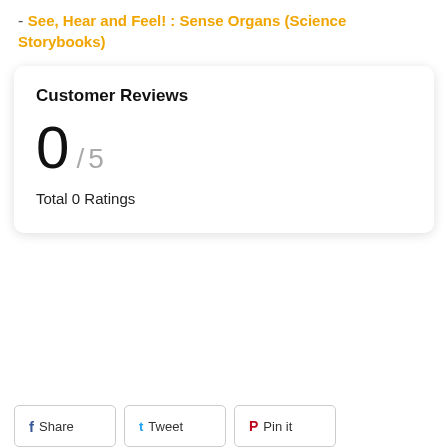- See, Hear and Feel! : Sense Organs (Science Storybooks)
Customer Reviews
0 / 5
Total 0 Ratings
Share  Tweet  Pin it